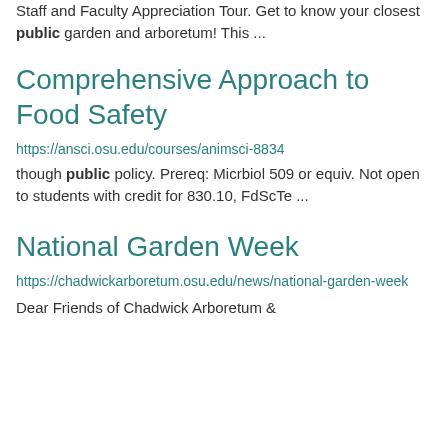Staff and Faculty Appreciation Tour. Get to know your closest public garden and arboretum! This ...
Comprehensive Approach to Food Safety
https://ansci.osu.edu/courses/animsci-8834 though public policy. Prereq: Micrbiol 509 or equiv. Not open to students with credit for 830.10, FdScTe ...
National Garden Week
https://chadwickarboretum.osu.edu/news/national-garden-week
Dear Friends of Chadwick Arboretum &